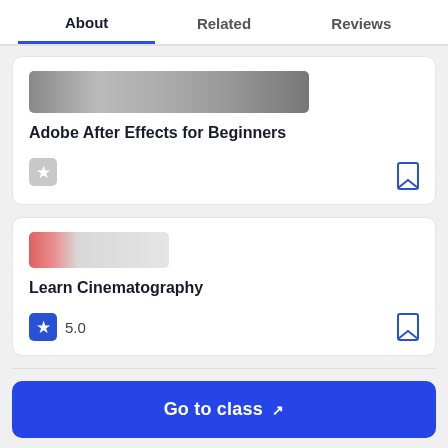About | Related | Reviews
[Figure (screenshot): Course card for Adobe After Effects for Beginners with a grayscale thumbnail image, empty star rating icon, and bookmark icon]
Adobe After Effects for Beginners
[Figure (screenshot): Course card for Learn Cinematography with a pink/gray thumbnail image, 5.0 star rating, and bookmark icon]
Learn Cinematography
5.0
Go to class